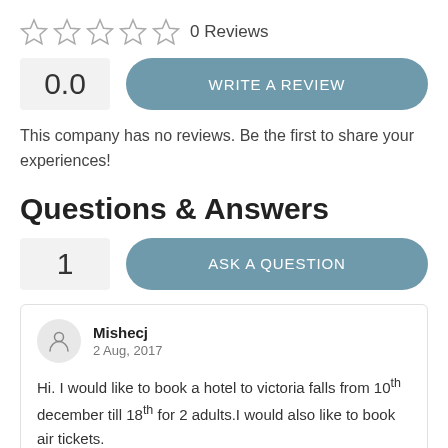[Figure (other): Five empty star rating icons]
0 Reviews
0.0
WRITE A REVIEW
This company has no reviews. Be the first to share your experiences!
Questions & Answers
1
ASK A QUESTION
Mishecj
2 Aug, 2017
Hi. I would like to book a hotel to victoria falls from 10th december till 18th for 2 adults.I would also like to book air tickets.
Many